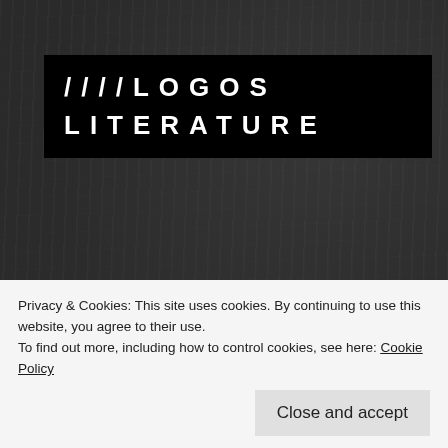////LOGOS
LITERATURE
Politics
Tatter: Chapter 35
by Kaiter Enless   June 18, 2020
Privacy & Cookies: This site uses cookies. By continuing to use this website, you agree to their use.
To find out more, including how to control cookies, see here: Cookie Policy
Close and accept